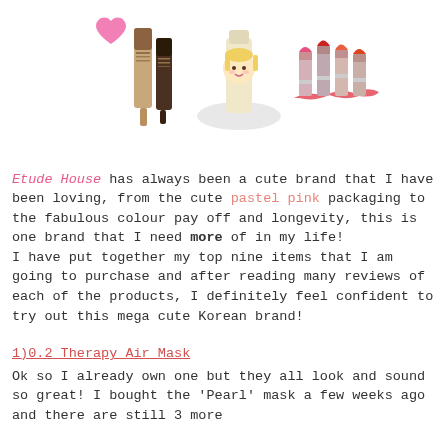[Figure (illustration): Three Etude House cosmetic product illustrations: a concealer/foundation stick with a pink heart, a face cream/BB cream tube with a cartoon girl face, and four lipsticks in pink/red/coral shades with a red smear.]
Etude House has always been a cute brand that I have been loving, from the cute pastel pink packaging to the fabulous colour pay off and longevity, this is one brand that I need more of in my life!
I have put together my top nine items that I am going to purchase and after reading many reviews of each of the products, I definitely feel confident to try out this mega cute Korean brand!
1)0.2 Therapy Air Mask
Ok so I already own one but they all look and sound so great! I bought the 'Pearl' mask a few weeks ago and there are still 3 more